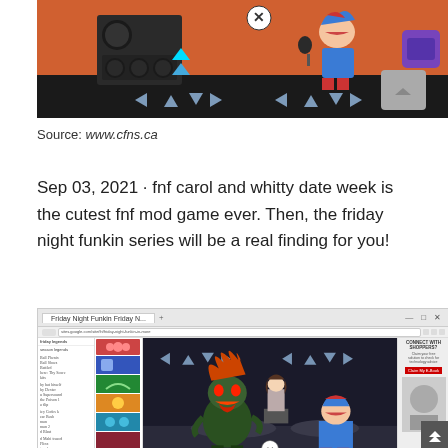[Figure (screenshot): Friday Night Funkin game screenshot showing rhythm game with arrow keys and characters against a dark background with speakers]
Source: www.cfns.ca
Sep 03, 2021 · fnf carol and whitty date week is the cutest fnf mod game ever. Then, the friday night funkin series will be a real finding for you!
[Figure (screenshot): Browser screenshot showing Friday Night Funkin game being played on sites.google.com, with game sidebar on left showing various game thumbnails, main game area in center showing characters, and advertisement panel on right saying CONNECT WITH SHOPPERS]